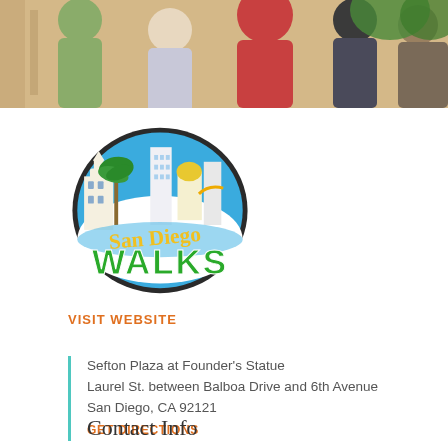[Figure (photo): Group of people standing and talking indoors, one in red shirt, others in casual clothing]
[Figure (logo): San Diego Walks logo: illustrated city skyline with palm trees in blue oval, yellow cursive 'San Diego' text, green bold 'WALKS' text]
VISIT WEBSITE
Sefton Plaza at Founder's Statue
Laurel St. between Balboa Drive and 6th Avenue
San Diego, CA 92121
GET DIRECTIONS
Contact Info